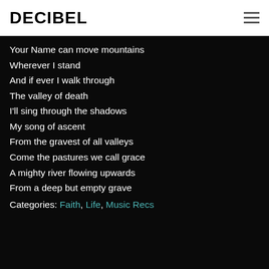DECIBEL
Your Name can move mountains
Wherever I stand
And if ever I walk through
The valley of death
I'll sing through the shadows
My song of ascent
From the gravest of all valleys
Come the pastures we call grace
A mighty river flowing upwards
From a deep but empty grave
Categories: Faith, Life, Music Recs